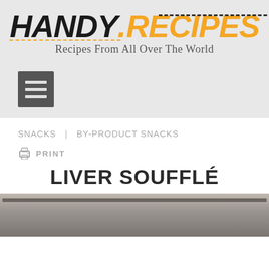[Figure (logo): HANDY.RECIPES logo with dashed decorative lines and tagline 'Recipes From All Over The World']
[Figure (other): Hamburger menu icon (three horizontal bars on dark grey background)]
SNACKS  |  BY-PRODUCT SNACKS
PRINT
LIVER SOUFFLÉ
[Figure (photo): Bottom portion of a baking dish/pan with grey textured food content visible]